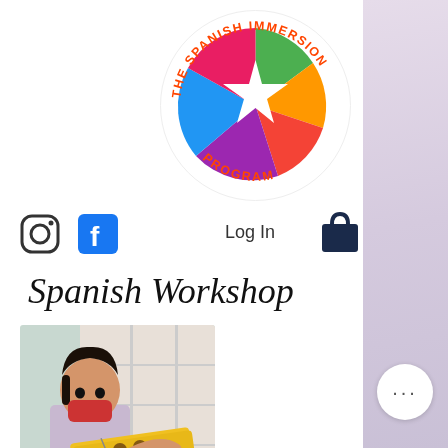[Figure (logo): The Spanish Immersion Program circular logo with colorful hands around a white star on a multicolored background, with text 'THE SPANISH IMMERSION PROGRAM' around the circle (bottom text mirrored/upside down)]
[Figure (other): Instagram icon (camera outline)]
[Figure (other): Facebook icon (blue square with white f)]
Log In
[Figure (other): Shopping bag / cart icon (dark navy blue bag)]
Spanish Workshop
[Figure (photo): A young child wearing a light purple top and red face mask, holding up a colorful craft/art piece (appears to be a dotted yellow and blue board/painting), seated at a table with art supplies. Classroom shelving visible in background.]
[Figure (other): Sidebar with light lavender/pink gradient and a circular white button with three dots (ellipsis/more options)]